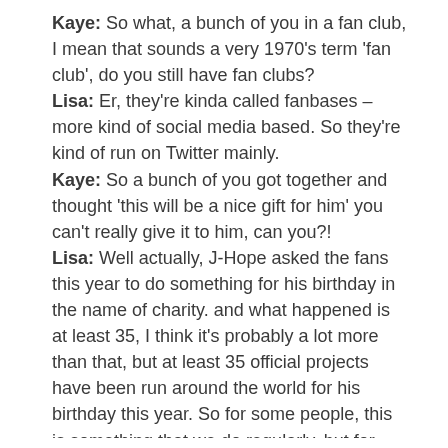Kaye: So what, a bunch of you in a fan club, I mean that sounds a very 1970's term 'fan club', do you still have fan clubs?
Lisa: Er, they're kinda called fanbases – more kind of social media based. So they're kind of run on Twitter mainly.
Kaye: So a bunch of you got together and thought 'this will be a nice gift for him' you can't really give it to him, can you?!
Lisa: Well actually, J-Hope asked the fans this year to do something for his birthday in the name of charity. and what happened is at least 35, I think it's probably a lot more than that, but at least 35 official projects have been run around the world for his birthday this year. So for some people, this is something that we do regularly, but for birthdays, in particular, it tends to be a surge in these kinds of